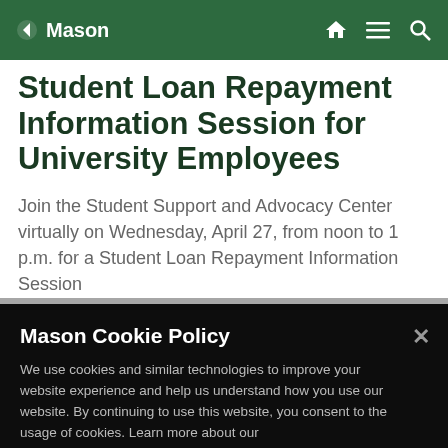Mason
Student Loan Repayment Information Session for University Employees
Join the Student Support and Advocacy Center virtually on Wednesday, April 27, from noon to 1 p.m. for a Student Loan Repayment Information Session
Mason Cookie Policy
We use cookies and similar technologies to improve your website experience and help us understand how you use our website. By continuing to use this website, you consent to the usage of cookies. Learn more about our Cookie Policy
Cookie Preferences
Accept Cookies